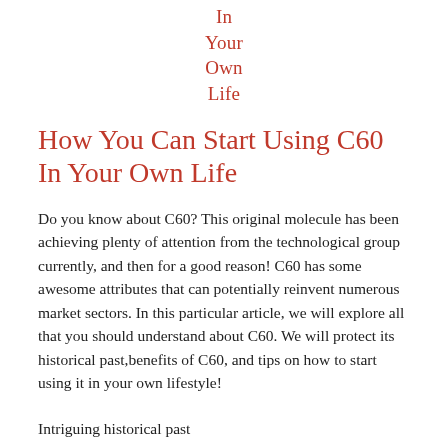In
Your
Own
Life
How You Can Start Using C60 In Your Own Life
Do you know about C60? This original molecule has been achieving plenty of attention from the technological group currently, and then for a good reason! C60 has some awesome attributes that can potentially reinvent numerous market sectors. In this particular article, we will explore all that you should understand about C60. We will protect its historical past,benefits of C60, and tips on how to start using it in your own lifestyle!
Intriguing historical past
C60 was first identified in 1985 from a staff of